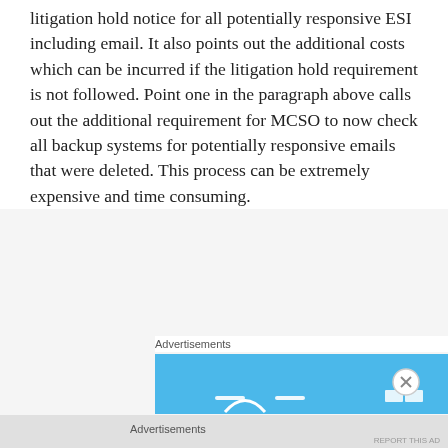litigation hold notice for all potentially responsive ESI including email. It also points out the additional costs which can be incurred if the litigation hold requirement is not followed. Point one in the paragraph above calls out the additional requirement for MCSO to now check all backup systems for potentially responsive emails that were deleted. This process can be extremely expensive and time consuming.
Advertisements
[Figure (other): Advertisement banner with blue background and partial logo/icon elements visible at the bottom]
Advertisements